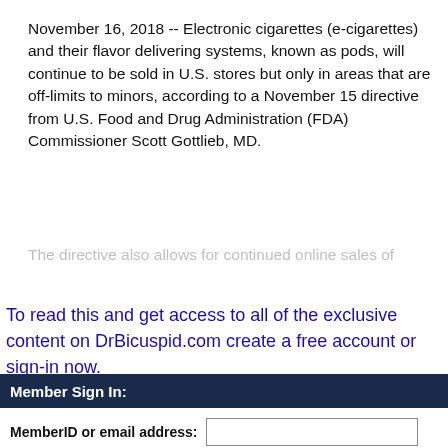November 16, 2018 -- Electronic cigarettes (e-cigarettes) and their flavor delivering systems, known as pods, will continue to be sold in U.S. stores but only in areas that are off-limits to minors, according to a November 15 directive from U.S. Food and Drug Administration (FDA) Commissioner Scott Gottlieb, MD.
The directive also allows for continued online sales of
To read this and get access to all of the exclusive content on DrBicuspid.com create a free account or sign-in now.
Member Sign In:
MemberID or email address:
Do you have a DrBicuspid.com password?
No, I want a free membership.